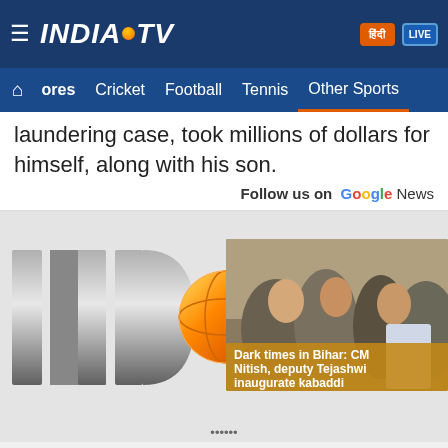India TV - hamburger menu, logo, Hindi button, LIVE button
Scores | Cricket | Football | Tennis | Other Sports
laundering case, took millions of dollars for himself, along with his son.
Follow us on Google News
[Figure (logo): India TV large logo with globe icon showing letters INDI]
[Figure (photo): Video thumbnail showing CM Nitish and deputy Tejashwi at kabaddi event with caption: Dark times in Bihar: CM Nitish, deputy Tejashwi inaugurate kabaddi]